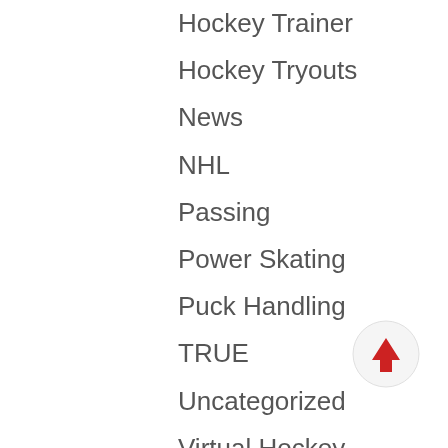Hockey Trainer
Hockey Tryouts
News
NHL
Passing
Power Skating
Puck Handling
TRUE
Uncategorized
Virtual Hockey
[Figure (illustration): Back to top button: a circular button with a red upward-pointing arrow]